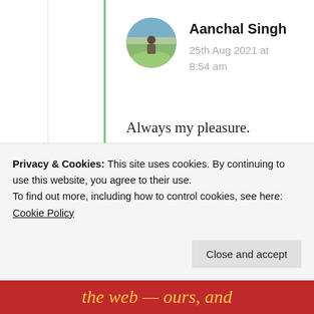[Figure (photo): Circular avatar photo of a person in a field with green grass and cloudy sky]
Aanchal Singh
25th Aug 2021 at 8:54 am
Always my pleasure. That's so sweet of you to say that. 😊 💕
★ Liked by 1 person
Advertisements
Privacy & Cookies: This site uses cookies. By continuing to use this website, you agree to their use.
To find out more, including how to control cookies, see here: Cookie Policy
Close and accept
the web — ours, and